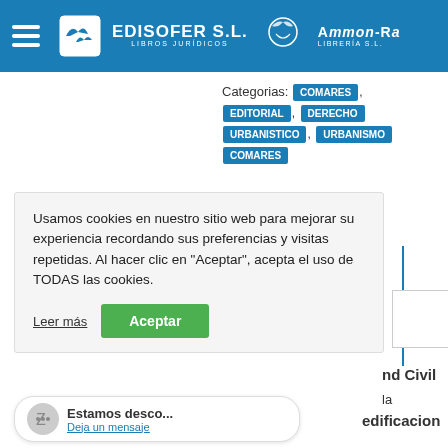[Figure (logo): Edisofer S.L. and Ammon-Ra Libreria S.L. logos in blue header bar with hamburger menu]
Categorias: COMARES, EDITORIAL, DERECHO URBANISTICO, URBANISMO COMARES
56,00€  53,21€
Usamos cookies en nuestro sitio web para mejorar su experiencia recordando sus preferencias y visitas repetidas. Al hacer clic en "Aceptar", acepta el uso de TODAS las cookies.
Leer más
Aceptar
Estamos desconocido... Deja un mensaje
nd Civil
la
edificacion